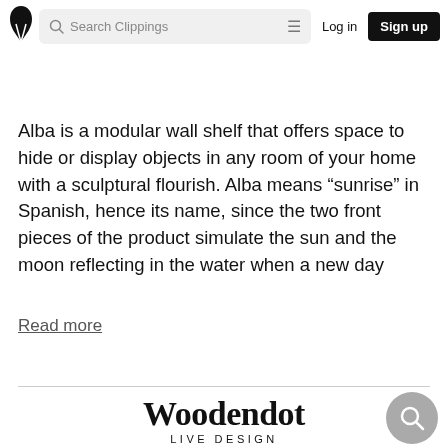Search Clippings | Log in | Sign up
Alba is a modular wall shelf that offers space to hide or display objects in any room of your home with a sculptural flourish. Alba means “sunrise” in Spanish, hence its name, since the two front pieces of the product simulate the sun and the moon reflecting in the water when a new day
Read more
[Figure (logo): Woodendot LIVE DESIGN logo with search icon button]
Woodendot LIVE DESIGN